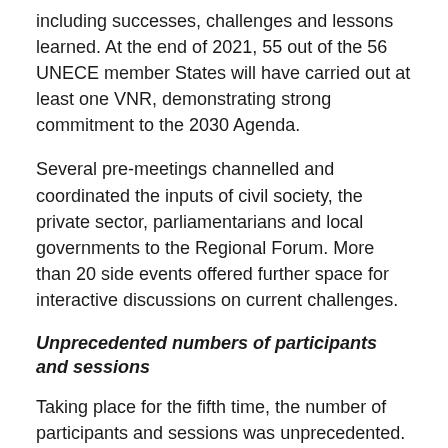including successes, challenges and lessons learned. At the end of 2021, 55 out of the 56 UNECE member States will have carried out at least one VNR, demonstrating strong commitment to the 2030 Agenda.
Several pre-meetings channelled and coordinated the inputs of civil society, the private sector, parliamentarians and local governments to the Regional Forum. More than 20 side events offered further space for interactive discussions on current challenges.
Unprecedented numbers of participants and sessions
Taking place for the fifth time, the number of participants and sessions was unprecedented. The preparation of the Forum mobilized the regional UN system and exemplifies successful regional cooperation between a wide range of UN agencies. The Co-Chair's summary of the Regional Forum will provide